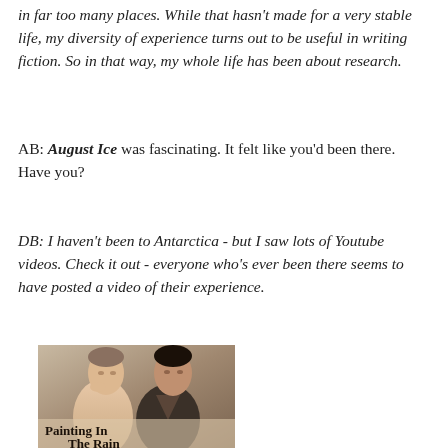in far too many places. While that hasn't made for a very stable life, my diversity of experience turns out to be useful in writing fiction. So in that way, my whole life has been about research.
AB: August Ice was fascinating. It felt like you'd been there. Have you?
DB: I haven't been to Antarctica - but I saw lots of Youtube videos. Check it out - everyone who's ever been there seems to have posted a video of their experience.
[Figure (illustration): Book cover showing two men, one shirtless with hand on chin, one in dark shirt, with text 'Painting In The Rain' at bottom]